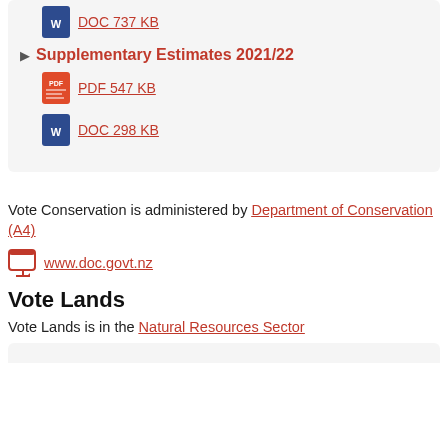Supplementary Estimates 2021/22
PDF 547 KB
DOC 298 KB
Vote Conservation is administered by Department of Conservation (A4)
www.doc.govt.nz
Vote Lands
Vote Lands is in the Natural Resources Sector